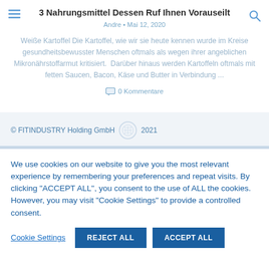3 Nahrungsmittel Dessen Ruf Ihnen Vorauseilt
Andre • Mai 12, 2020
Weiße Kartoffel Die Kartoffel, wie wir sie heute kennen wurde im Kreise gesundheitsbewusster Menschen oftmals als wegen ihrer angeblichen Mikronährstoffarmut kritisiert.  Darüber hinaus werden Kartoffeln oftmals mit fetten Saucen, Bacon, Käse und Butter in Verbindung ...
0 Kommentare
© FITINDUSTRY Holding GmbH 2021
We use cookies on our website to give you the most relevant experience by remembering your preferences and repeat visits. By clicking "ACCEPT ALL", you consent to the use of ALL the cookies. However, you may visit "Cookie Settings" to provide a controlled consent.
Cookie Settings  REJECT ALL  ACCEPT ALL